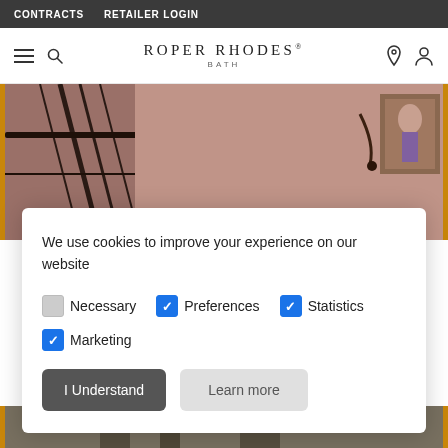CONTRACTS  RETAILER LOGIN
ROPER RHODES® BATH
[Figure (photo): Interior photo of a staircase with dark iron railings and brownish-pink walls, with a painting visible in background]
We use cookies to improve your experience on our website
Necessary (unchecked)
Preferences (checked)
Statistics (checked)
Marketing (checked)
I Understand
Learn more
[Figure (photo): Partial view of bathroom or interior scene at bottom of page]